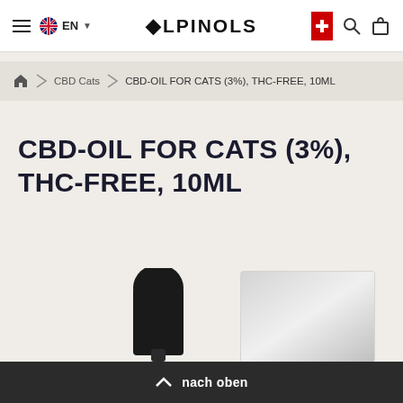ALPINOLS — EN navigation header
CBD Cats > CBD-OIL FOR CATS (3%), THC-FREE, 10ML
CBD-OIL FOR CATS (3%), THC-FREE, 10ML
[Figure (photo): Product photo showing a black glass dropper and a silver/white product box on a beige background]
nach oben